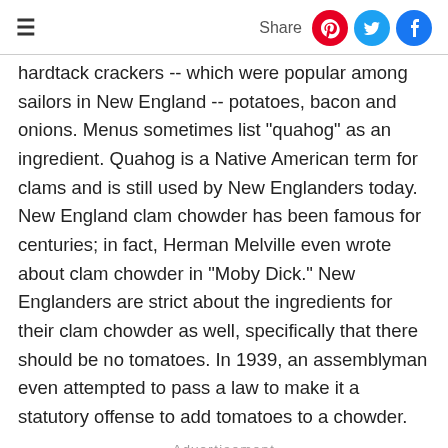≡  Share
hardtack crackers -- which were popular among sailors in New England -- potatoes, bacon and onions. Menus sometimes list "quahog" as an ingredient. Quahog is a Native American term for clams and is still used by New Englanders today. New England clam chowder has been famous for centuries; in fact, Herman Melville even wrote about clam chowder in "Moby Dick." New Englanders are strict about the ingredients for their clam chowder as well, specifically that there should be no tomatoes. In 1939, an assemblyman even attempted to pass a law to make it a statutory offense to add tomatoes to a chowder.
Advertisement